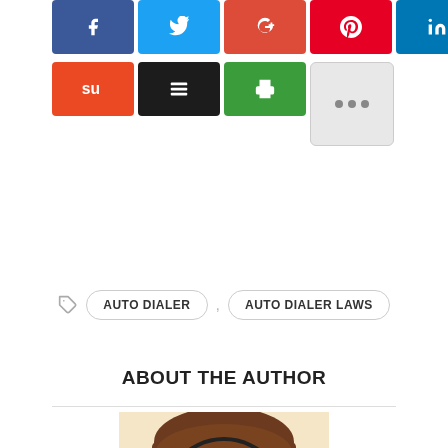[Figure (other): Social share buttons row 1: Facebook (blue), Twitter (light blue), Google (red-orange), Pinterest (red), LinkedIn (dark blue)]
[Figure (other): Social share buttons row 2: StumbleUpon (orange), Buffer (black), Print (green), More (grey with ellipsis)]
AUTO DIALER , AUTO DIALER LAWS
ABOUT THE AUTHOR
[Figure (illustration): Cartoon illustration of a man's face, pixelated style, with brown hair and a friendly expression]